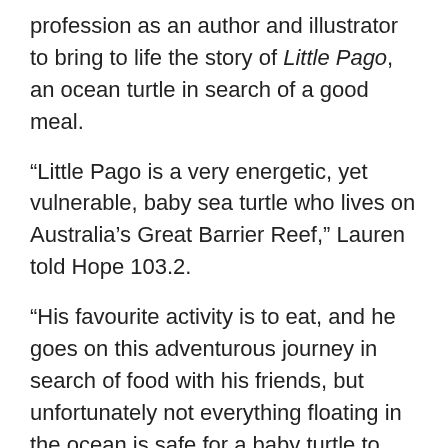profession as an author and illustrator to bring to life the story of Little Pago, an ocean turtle in search of a good meal.
“Little Pago is a very energetic, yet vulnerable, baby sea turtle who lives on Australia’s Great Barrier Reef,” Lauren told Hope 103.2.
“His favourite activity is to eat, and he goes on this adventurous journey in search of food with his friends, but unfortunately not everything floating in the ocean is safe for a baby turtle to eat.”
Pago’s dilemma is a valid one, with the International Union for the Conservation of Nature reporting that 8 million tonnes of plastic waste ends up in our oceans every year – equating to a staggering 5.25 trillion